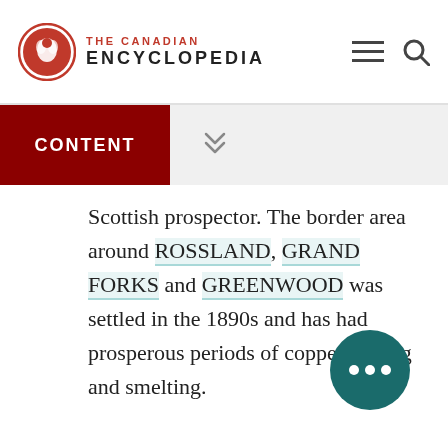THE CANADIAN ENCYCLOPEDIA
CONTENT
Scottish prospector. The border area around ROSSLAND, GRAND FORKS and GREENWOOD was settled in the 1890s and has had prosperous periods of copper mining and smelting.